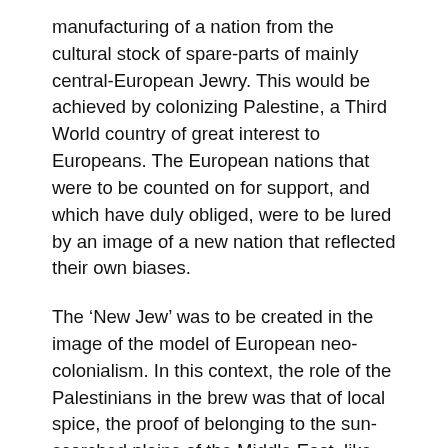manufacturing of a nation from the cultural stock of spare-parts of mainly central-European Jewry. This would be achieved by colonizing Palestine, a Third World country of great interest to Europeans. The European nations that were to be counted on for support, and which have duly obliged, were to be lured by an image of a new nation that reflected their own biases.
The ‘New Jew’ was to be created in the image of the model of European neo-colonialism. In this context, the role of the Palestinians in the brew was that of local spice, the proof of belonging to the sun-scorched plains of the Middle East, like the sabra plant. Certain aspects of Israeli architecture reveal such a tendency to take over local cultural elements and motifs which are then adapted to suit the coloniser. The arch, dome and enclosed courtyard are all elements of Palestinian Arab architecture, although their true origin is sanitised by being referred to as ‘regional’ or ‘Middle-Eastern’.